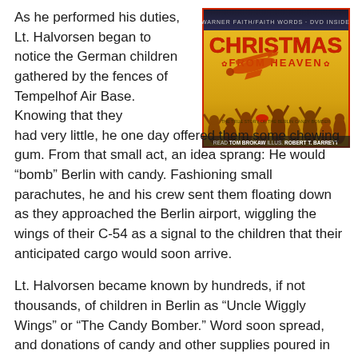[Figure (photo): Book cover of 'Christmas from Heaven' — The True Story of the Berlin Candy Bomber, read by Tom Brokaw, illustrated by Robert T. Barrett. Shows a C-54 airplane flying over a crowd of children with arms raised, on a yellow/orange background.]
As he performed his duties, Lt. Halvorsen began to notice the German children gathered by the fences of Tempelhof Air Base. Knowing that they had very little, he one day offered them some chewing gum. From that small act, an idea sprang: He would “bomb” Berlin with candy. Fashioning small parachutes, he and his crew sent them floating down as they approached the Berlin airport, wiggling the wings of their C-54 as a signal to the children that their anticipated cargo would soon arrive.
Lt. Halvorsen became known by hundreds, if not thousands, of children in Berlin as “Uncle Wiggly Wings” or “The Candy Bomber.” Word soon spread, and donations of candy and other supplies poured in from sympathetic Americans. Lt. Halvorsen’s small idea became a great